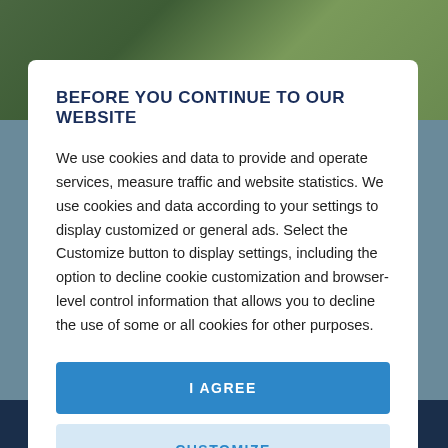[Figure (screenshot): Background showing a garden/outdoor photo on top and a dark blue navigation bar at the bottom, with a white modal dialog overlay in the center.]
BEFORE YOU CONTINUE TO OUR WEBSITE
We use cookies and data to provide and operate services, measure traffic and website statistics. We use cookies and data according to your settings to display customized or general ads. Select the Customize button to display settings, including the option to decline cookie customization and browser-level control information that allows you to decline the use of some or all cookies for other purposes.
I AGREE
CUSTOMIZE